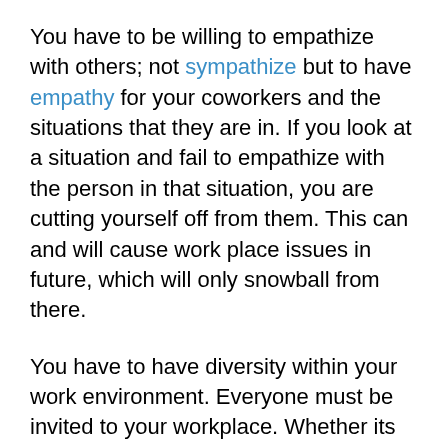You have to be willing to empathize with others; not sympathize but to have empathy for your coworkers and the situations that they are in. If you look at a situation and fail to empathize with the person in that situation, you are cutting yourself off from them. This can and will cause work place issues in future, which will only snowball from there.
You have to have diversity within your work environment. Everyone must be invited to your workplace. Whether its an after-work get-together or the workplace itself, diversity helps to promote growth, positive change, and everything else you want to see in the place that you spend at least 40 hours of your life in every week.
You have to be inclusive for everyone. There can be no us or them anymore, that division ended long ago. The most important...